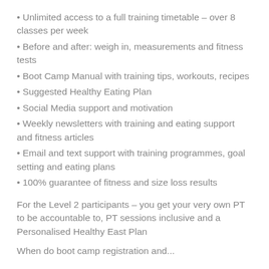Unlimited access to a full training timetable – over 8 classes per week
Before and after: weigh in, measurements and fitness tests
Boot Camp Manual with training tips, workouts, recipes
Suggested Healthy Eating Plan
Social Media support and motivation
Weekly newsletters with training and eating support and fitness articles
Email and text support with training programmes, goal setting and eating plans
100% guarantee of fitness and size loss results
For the Level 2 participants – you get your very own PT to be accountable to, PT sessions inclusive and a Personalised Healthy East Plan
When do boot camp registration and...